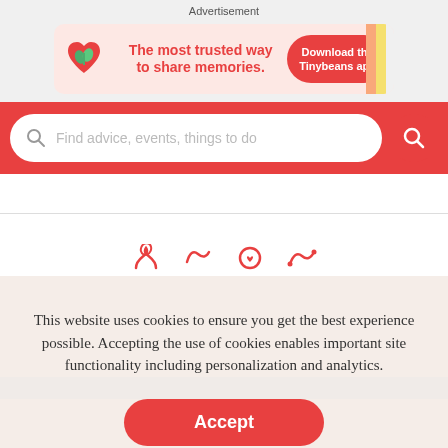Advertisement
[Figure (illustration): Tinybeans app advertisement banner with plant/heart logo, text 'The most trusted way to share memories.' and a red 'Download the Tinybeans app' button]
[Figure (screenshot): Red search bar with placeholder text 'Find advice, events, things to do' and a red circular search button]
This website uses cookies to ensure you get the best experience possible. Accepting the use of cookies enables important site functionality including personalization and analytics.
Accept
Decline